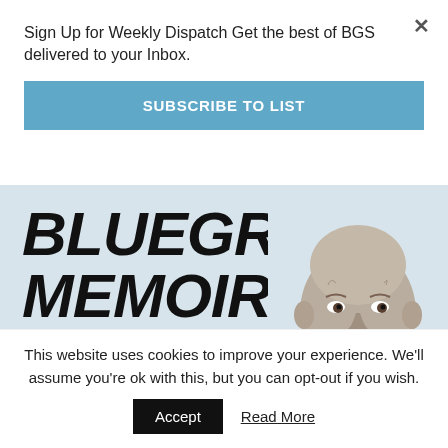Sign Up for Weekly Dispatch Get the best of BGS delivered to your Inbox.
SUBSCRIBE TO LIST
[Figure (photo): Book cover image showing 'BLUEGRASS MEMOIRS' in large bold italic text on a light blue-grey background, with a black and white photo of an older bald man on the right side.]
This website uses cookies to improve your experience. We'll assume you're ok with this, but you can opt-out if you wish.
Accept
Read More